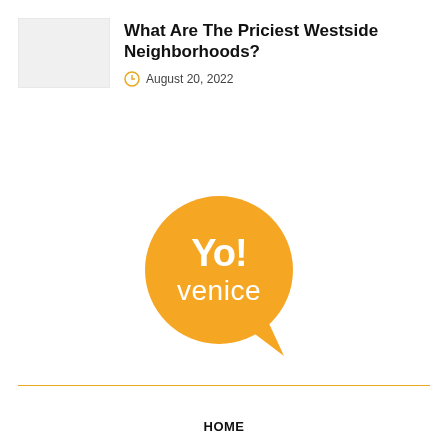[Figure (photo): Thumbnail image placeholder (light gray rectangle)]
What Are The Priciest Westside Neighborhoods?
August 20, 2022
[Figure (logo): Yo! Venice logo — orange speech-bubble circle with 'Yo! venice' text in white, with an orange pointer tail at the bottom right]
HOME